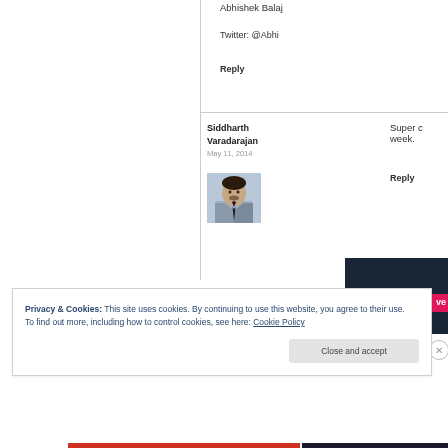Abhishek Balaj
Twitter: @Abhi
Reply
Siddharth Varadarajan
May 11, 2014
[Figure (photo): Profile photo of Siddharth Varadarajan]
Super c week.
Reply
Privacy & Cookies: This site uses cookies. By continuing to use this website, you agree to their use.
To find out more, including how to control cookies, see here: Cookie Policy
Close and accept